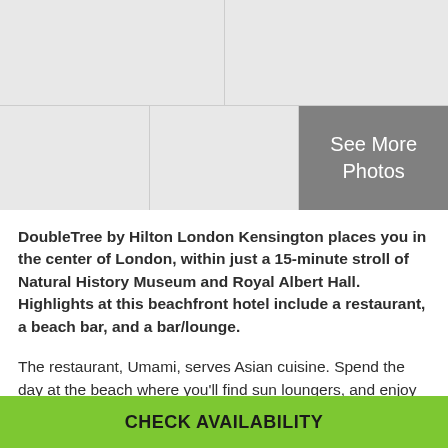[Figure (photo): Photo grid showing hotel images with a 'See More Photos' overlay on the bottom-right cell. Top row has two gray placeholder photo cells side by side. Bottom row has three cells: two gray placeholder photos and one dark gray overlay with 'See More Photos' text.]
DoubleTree by Hilton London Kensington places you in the center of London, within just a 15-minute stroll of Natural History Museum and Royal Albert Hall. Highlights at this beachfront hotel include a restaurant, a beach bar, and a bar/lounge.
The restaurant, Umami, serves Asian cuisine. Spend the day at the beach where you'll find sun loungers, and enjoy the onsite gym and sauna. A meeting room and a business center are among the business amenities offered. Additionally, you'll find free WiFi in public areas and laundry facilities. Each morning full breakfast is available. There's also
CHECK AVAILABILITY